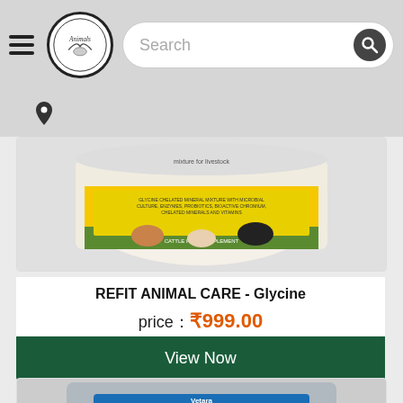Animals logo and search bar navigation header
[Figure (screenshot): Location pin icon below header]
[Figure (photo): Product image: REFIT ANIMAL CARE Glycine chelated mineral mixture cattle feed supplement container with cows and pigs]
REFIT ANIMAL CARE - Glycine
price : ₹999.00
View Now
[Figure (photo): Product image: Fat Booster+ for milk fat enhancer silver pouch with blue label]